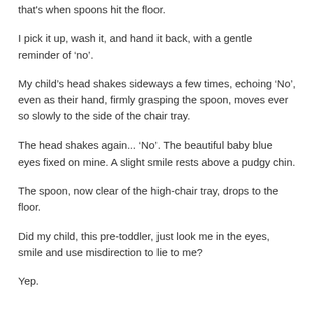that's when spoons hit the floor.
I pick it up, wash it, and hand it back, with a gentle reminder of ‘no’.
My child’s head shakes sideways a few times, echoing ‘No’, even as their hand, firmly grasping the spoon, moves ever so slowly to the side of the chair tray.
The head shakes again... ‘No’. The beautiful baby blue eyes fixed on mine. A slight smile rests above a pudgy chin.
The spoon, now clear of the high-chair tray, drops to the floor.
Did my child, this pre-toddler, just look me in the eyes, smile and use misdirection to lie to me?
Yep.